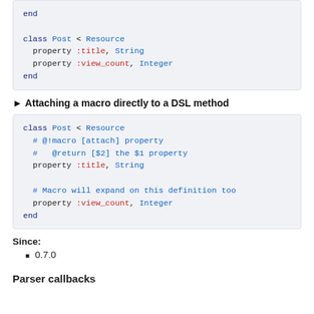end

class Post < Resource
  property :title, String
  property :view_count, Integer
end
► Attaching a macro directly to a DSL method
class Post < Resource
  # @!macro [attach] property
  #   @return [$2] the $1 property
  property :title, String

  # Macro will expand on this definition too
  property :view_count, Integer
end
Since:
0.7.0
Parser callbacks